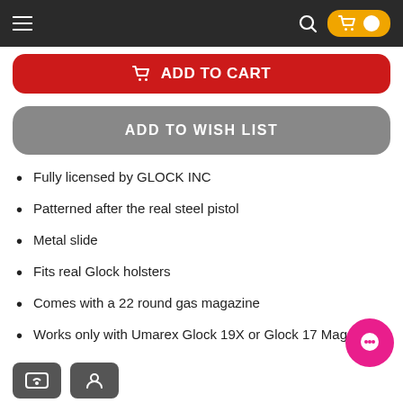Navigation bar with hamburger menu, search icon, and cart button
ADD TO CART
ADD TO WISH LIST
Fully licensed by GLOCK INC
Patterned after the real steel pistol
Metal slide
Fits real Glock holsters
Comes with a 22 round gas magazine
Works only with Umarex Glock 19X or Glock 17 Magazines